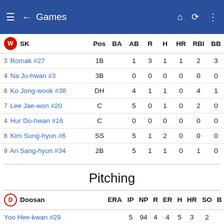Games
| # | SK | Pos | BA | AB | R | H | HR | RBI | BB | S |
| --- | --- | --- | --- | --- | --- | --- | --- | --- | --- | --- |
| 3 | Romak #27 | 1B |  | 1 | 3 | 1 | 1 | 2 | 3 |  |
| 4 | Na Ju-hwan #3 | 3B |  | 0 | 0 | 0 | 0 | 0 | 0 |  |
| 6 | Ko Jong-wook #38 | DH |  | 4 | 1 | 1 | 0 | 4 | 1 |  |
| 7 | Lee Jae-won #20 | C |  | 5 | 0 | 1 | 0 | 2 | 0 |  |
| 4 | Hur Do-hwan #16 | C |  | 0 | 0 | 0 | 0 | 0 | 0 |  |
| 8 | Kim Sung-hyun #6 | SS |  | 5 | 1 | 2 | 0 | 0 | 0 |  |
| 9 | An Sang-hyun #34 | 2B |  | 5 | 1 | 1 | 0 | 1 | 0 |  |
Pitching
| Doosan | ERA | IP | NP | R | ER | H | HR | SO | B |
| --- | --- | --- | --- | --- | --- | --- | --- | --- | --- |
| Yoo Hee-kwan #29 |  | 5 | 94 | 4 | 4 | 5 | 3 | 2 |  |